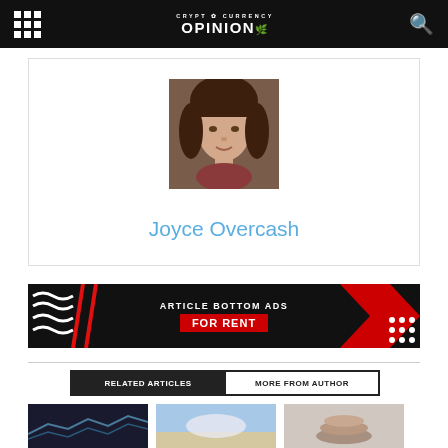CRYPT CURRENCY OPINION
[Figure (photo): Headshot photo of Joyce Overcash, a woman with short brown hair and bangs, slight smile]
Joyce Overcash
[Figure (infographic): Advertisement banner: ARTICLE BOTTOM ADS FOR RENT on black and red background]
RELATED ARTICLES | MORE FROM AUTHOR
[Figure (photo): Article thumbnail 1 - dark chart/graph image]
[Figure (photo): Article thumbnail 2 - sky/outdoor scene]
[Figure (photo): Article thumbnail 3 - stacked coins or food item]